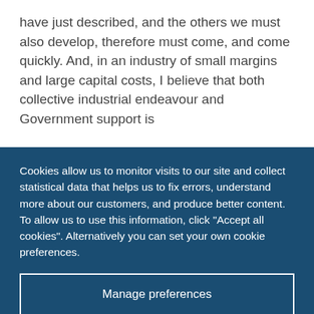have just described, and the others we must also develop, therefore must come, and come quickly. And, in an industry of small margins and large capital costs, I believe that both collective industrial endeavour and Government support is
Cookies allow us to monitor visits to our site and collect statistical data that helps us to fix errors, understand more about our customers, and produce better content. To allow us to use this information, click "Accept all cookies". Alternatively you can set your own cookie preferences.
Manage preferences
Accept all cookies